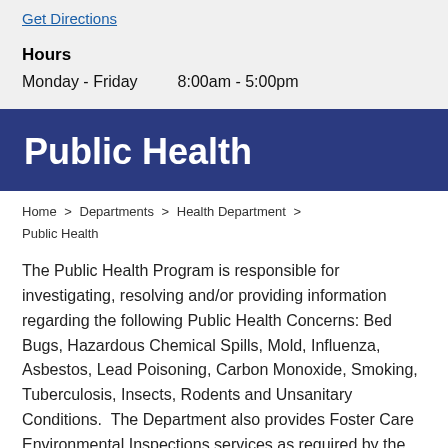Get Directions
Hours
Monday - Friday    8:00am - 5:00pm
Public Health
Home > Departments > Health Department > Public Health
The Public Health Program is responsible for investigating, resolving and/or providing information regarding the following Public Health Concerns: Bed Bugs, Hazardous Chemical Spills, Mold, Influenza, Asbestos, Lead Poisoning, Carbon Monoxide, Smoking, Tuberculosis, Insects, Rodents and Unsanitary Conditions.  The Department also provides Foster Care Environmental Inspections services as required by the Texas Department of